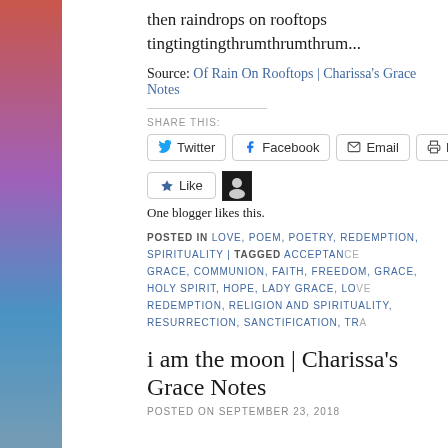then raindrops on rooftops
tingtingtingthrumthrumthrum...
Source: Of Rain On Rooftops | Charissa's Grace Notes
SHARE THIS:
Twitter | Facebook | Email | Print
Like | One blogger likes this.
POSTED IN LOVE, POEM, POETRY, REDEMPTION, SPIRITUALITY | TAGGED ACCEPTANCE, GRACE, COMMUNION, FAITH, FREEDOM, GRACE, HOLY SPIRIT, HOPE, LADY GRACE, LOVE, REDEMPTION, RELIGION AND SPIRITUALITY, RESURRECTION, SANCTIFICATION, TRANSFORMATION
i am the moon | Charissa's Grace Notes
POSTED ON SEPTEMBER 23, 2018